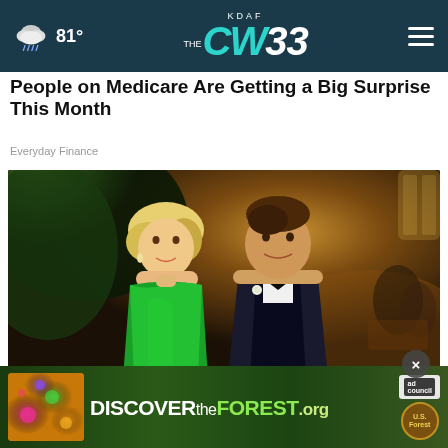KDAF CW33 | 81°
People on Medicare Are Getting a Big Surprise This Month
Everyday Finance
[Figure (photo): A man in a dark tuxedo with bow tie and boutonniere and a woman in a green off-shoulder dress posing together at a formal ballroom event.]
[Figure (screenshot): DiscovertheForest.org advertisement banner with ad council and US Forest Service logos, colorful flower illustration on left.]
The ... the List